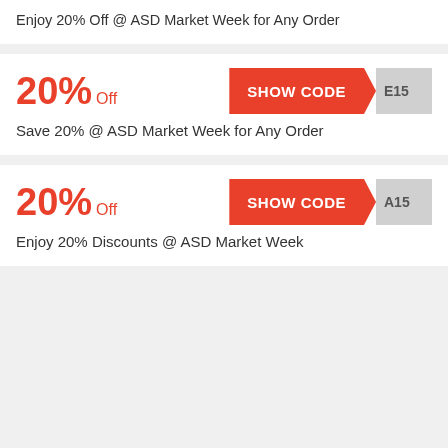Enjoy 20% Off @ ASD Market Week for Any Order
20% Off
SHOW CODE E15
Save 20% @ ASD Market Week for Any Order
20% Off
SHOW CODE A15
Enjoy 20% Discounts @ ASD Market Week